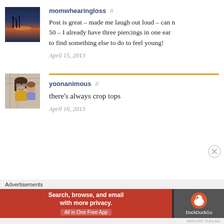[Figure (photo): Sunset landscape photo with silhouetted structures over water]
momwhearingloss  #
Post is great – made me laugh out loud – can n 50 – I already have three piercings in one ear to find something else to do to feel young!
April 15, 2013
[Figure (photo): Photo of a woman with sunglasses holding a child]
yoonanimous  #
there's always crop tops
April 16, 2013
Advertisements
[Figure (other): DuckDuckGo advertisement banner: Search, browse, and email with more privacy. All in One Free App]